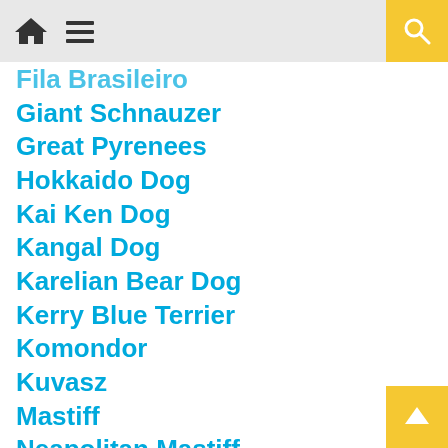Navigation bar with home icon, menu icon, and search button
Fila Brasileiro
Giant Schnauzer
Great Pyrenees
Hokkaido Dog
Kai Ken Dog
Kangal Dog
Karelian Bear Dog
Kerry Blue Terrier
Komondor
Kuvasz
Mastiff
Neapolitan Mastiff
Norwegian Elkhound
Presa Canario
Pyrenean Mastiff
Rafeiro do Alentejo